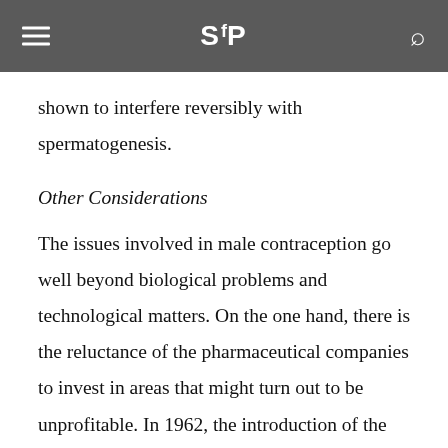SftP
shown to interfere reversibly with spermatogenesis.
Other Considerations
The issues involved in male contraception go well beyond biological problems and technological matters. On the one hand, there is the reluctance of the pharmaceutical companies to invest in areas that might turn out to be unprofitable. In 1962, the introduction of the Kefauver-Harris Amendment to the